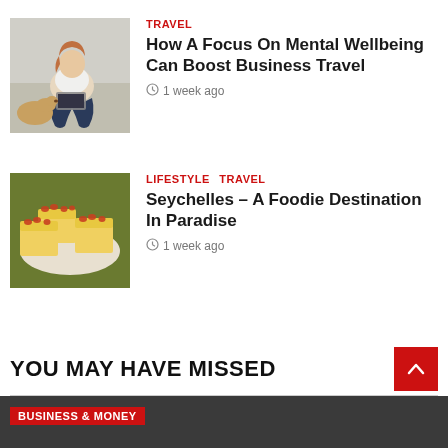[Figure (photo): Person sitting on bed with laptop and a dog]
TRAVEL
How A Focus On Mental Wellbeing Can Boost Business Travel
1 week ago
[Figure (photo): Yellow cake or sweet dessert slices on a plate]
LIFESTYLE  TRAVEL
Seychelles – A Foodie Destination In Paradise
1 week ago
YOU MAY HAVE MISSED
BUSINESS & MONEY